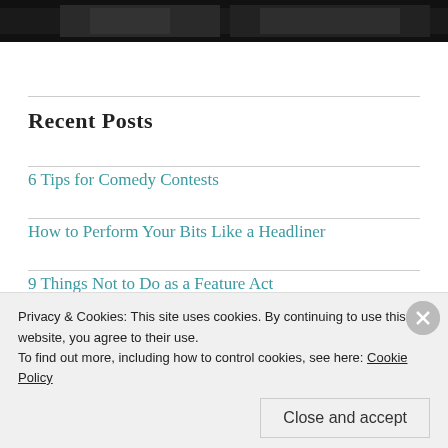[Figure (photo): Dark/black photo strip at top of page showing people at what appears to be a comedy event]
Recent Posts
6 Tips for Comedy Contests
How to Perform Your Bits Like a Headliner
9 Things Not to Do as a Feature Act
4 Mistakes I See at Every Open Mic
Privacy & Cookies: This site uses cookies. By continuing to use this website, you agree to their use.
To find out more, including how to control cookies, see here: Cookie Policy
Close and accept